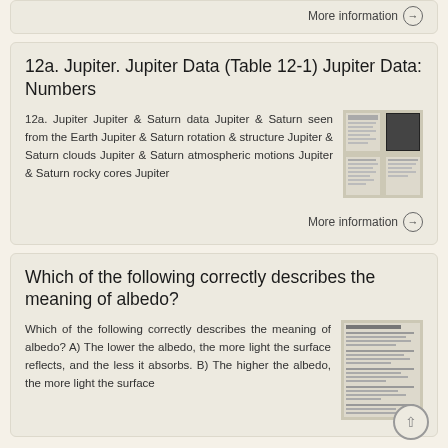More information →
12a. Jupiter. Jupiter Data (Table 12-1) Jupiter Data: Numbers
12a. Jupiter Jupiter & Saturn data Jupiter & Saturn seen from the Earth Jupiter & Saturn rotation & structure Jupiter & Saturn clouds Jupiter & Saturn atmospheric motions Jupiter & Saturn rocky cores Jupiter
More information →
Which of the following correctly describes the meaning of albedo?
Which of the following correctly describes the meaning of albedo? A) The lower the albedo, the more light the surface reflects, and the less it absorbs. B) The higher the albedo, the more light the surface